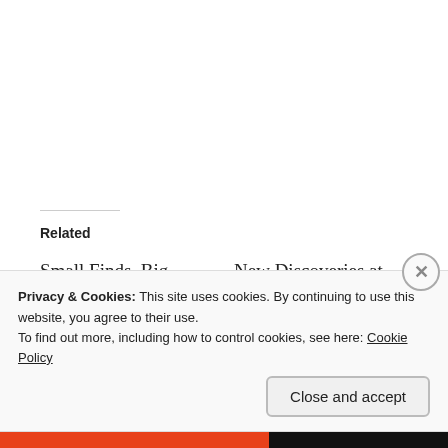Related
Small Finds, Big Stories: House Bell
January 31, 2018
In "Artifact of the Day"
New Discoveries at Eutaw!
April 4, 2016
In "Eutaw Manor"
Field Notes:Wrapping Up
May 1, 2016
In "Eutaw Manor"
Privacy & Cookies: This site uses cookies. By continuing to use this website, you agree to their use.
To find out more, including how to control cookies, see here: Cookie Policy
Close and accept